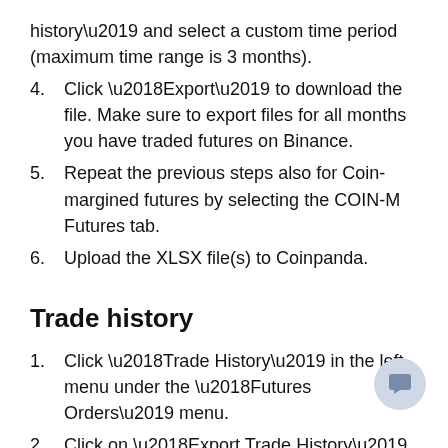history’ and select a custom time period (maximum time range is 3 months).
4. Click ‘Export’ to download the file. Make sure to export files for all months you have traded futures on Binance.
5. Repeat the previous steps also for Coin-margined futures by selecting the COIN-M Futures tab.
6. Upload the XLSX file(s) to Coinpanda.
Trade history
1. Click ‘Trade History’ in the left menu under the ‘Futures Orders’ menu.
2. Click on ‘Export Trade History’ and select